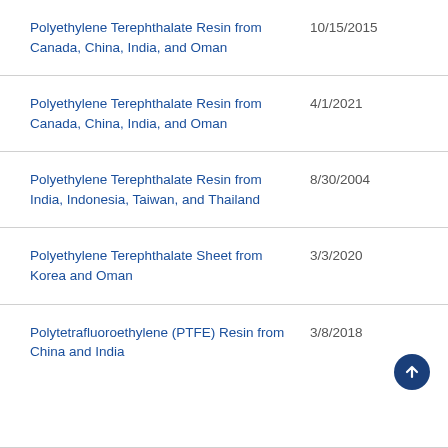| Product | Date |
| --- | --- |
| Polyethylene Terephthalate Resin from Canada, China, India, and Oman | 10/15/2015 |
| Polyethylene Terephthalate Resin from Canada, China, India, and Oman | 4/1/2021 |
| Polyethylene Terephthalate Resin from India, Indonesia, Taiwan, and Thailand | 8/30/2004 |
| Polyethylene Terephthalate Sheet from Korea and Oman | 3/3/2020 |
| Polytetrafluoroethylene (PTFE) Resin from China and India | 3/8/2018 |